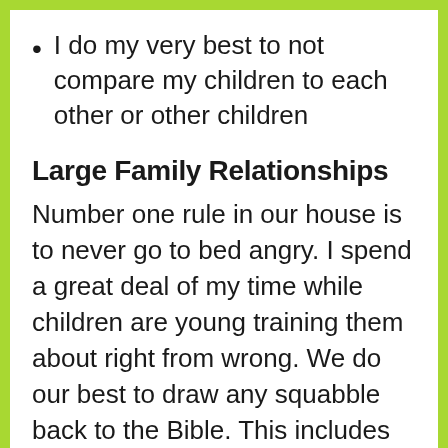I do my very best to not compare my children to each other or other children
Large Family Relationships
Number one rule in our house is to never go to bed angry. I spend a great deal of my time while children are young training them about right from wrong. We do our best to draw any squabble back to the Bible. This includes lots of teaching on forgiveness and the benefit of not